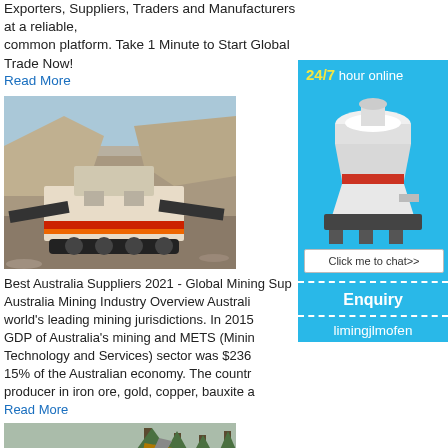Exporters, Suppliers, Traders and Manufacturers at a reliable, common platform. Take 1 Minute to Start Global Trade Now!
Read More
[Figure (photo): Photo of a mobile mining crusher machine in an open-pit quarry setting]
Best Australia Suppliers 2021 - Global Mining Sup... Australia Mining Industry Overview Australi... world's leading mining jurisdictions. In 2015... GDP of Australia's mining and METS (Minin... Technology and Services) sector was $236... 15% of the Australian economy. The countr... producer in iron ore, gold, copper, bauxite a...
Read More
[Figure (photo): Photo of an excavator digging in a forest/mining area]
[Figure (infographic): Sidebar widget: 24/7 hour online chat with cone crusher image, Click me to chat>> button, Enquiry section, limingjlmofen text]